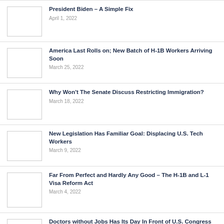President Biden – A Simple Fix
April 1, 2022
America Last Rolls on; New Batch of H-1B Workers Arriving Soon
March 25, 2022
Why Won't The Senate Discuss Restricting Immigration?
March 18, 2022
New Legislation Has Familiar Goal: Displacing U.S. Tech Workers
March 9, 2022
Far From Perfect and Hardly Any Good – The H-1B and L-1 Visa Reform Act
March 4, 2022
Doctors without Jobs Has Its Day In Front of U.S. Congress
February 18, 2022